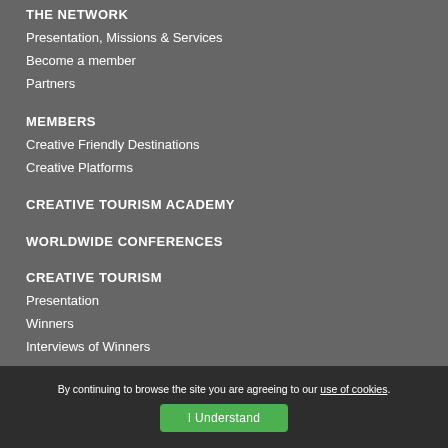THE NETWORK
Presentation, Missions & Services
Become a member
Partners
MEMBERS
Creative Friendly Destinations
Creative Platforms
CREATIVE TOURISM ACADEMY
WORLDWIDE CONFERENCES
CREATIVE TOURISM
Presentation
Winners
Interviews of Winners
By continuing to browse the site you are agreeing to our use of cookies. I Understand